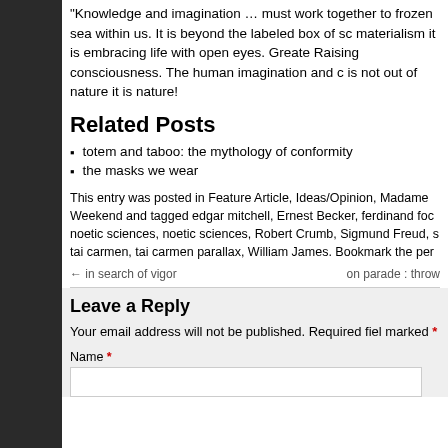“Knowledge and imagination … must work together to frozen sea within us. It is beyond the labeled box of sc materialism it is embracing life with open eyes. Greate Raising consciousness. The human imagination and c is not out of nature it is nature!
Related Posts
totem and taboo: the mythology of conformity
the masks we wear
This entry was posted in Feature Article, Ideas/Opinion, Madame Weekend and tagged edgar mitchell, Ernest Becker, ferdinand foc noetic sciences, noetic sciences, Robert Crumb, Sigmund Freud, s tai carmen, tai carmen parallax, William James. Bookmark the per
← in search of vigor    on parade : throw
Leave a Reply
Your email address will not be published. Required fiel marked *
Name *